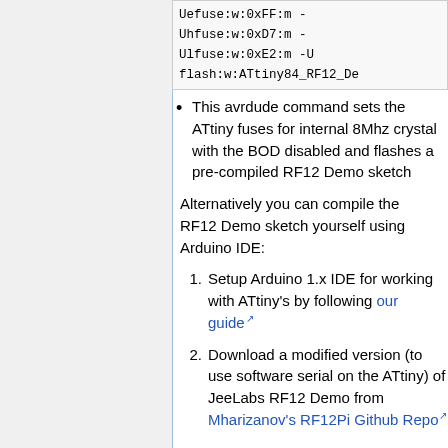Uefuse:w:0xFF:m -
Uhfuse:w:0xD7:m -
Ulfuse:w:0xE2:m -U
flash:w:ATtiny84_RF12_De...
This avrdude command sets the ATtiny fuses for internal 8Mhz crystal with the BOD disabled and flashes a pre-compiled RF12 Demo sketch
Alternatively you can compile the RF12 Demo sketch yourself using Arduino IDE:
Setup Arduino 1.x IDE for working with ATtiny's by following our guide
Download a modified version (to use software serial on the ATtiny) of JeeLabs RF12 Demo from Mharizanov's RF12Pi Github Repo